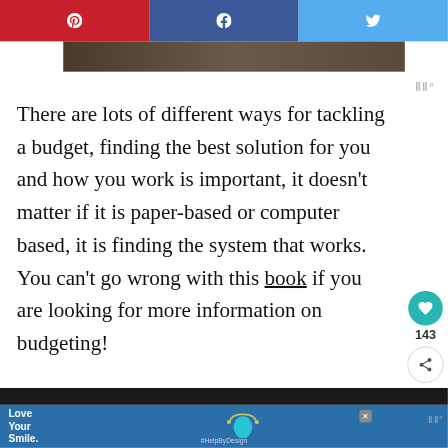[Figure (screenshot): Social sharing bar with Pinterest (red), Facebook (blue), Twitter (light blue) buttons at top]
There are lots of different ways for tackling a budget, finding the best solution for you and how you work is important, it doesn't matter if it is paper-based or computer based, it is finding the system that works. You can't go wrong with this book if you are looking for more information on budgeting!
[Figure (screenshot): Advertisement banner: Love Your Smile with dental floss icon and #HelpByDesign hashtag]
[Figure (screenshot): What's Next recommendation: How Safe Is Your Budget...]